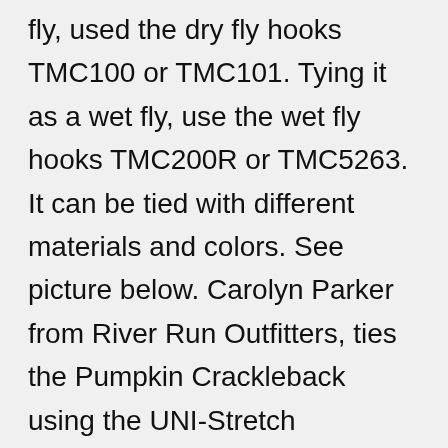fly, used the dry fly hooks TMC100 or TMC101. Tying it as a wet fly, use the wet fly hooks TMC200R or TMC5263.  It can be tied with different materials and colors.  See picture below. Carolyn Parker from River Run Outfitters, ties the Pumpkin Crackleback using the UNI-Stretch Pumpkin.  Her fly introduced me to the UNI-Stretch thread and now use it for all my Cracklebacks.  Two tying tips: when tying off the UNI-Stretch, suggest that you start a new thread UNI-Thread 8/0 black to tie off the UNI-Stretch.  This will eliminate the buildup of thread around the eye of the hook.  And second, I use a little